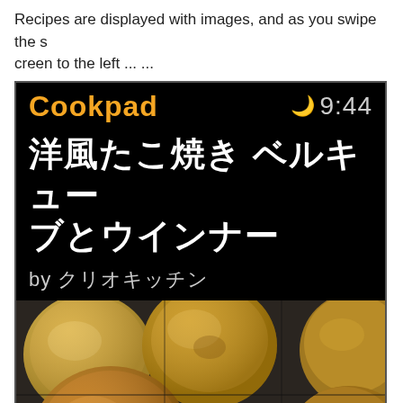Recipes are displayed with images, and as you swipe the screen to the left ... ...
[Figure (screenshot): Screenshot of Cookpad recipe app showing a recipe titled '洋風たこ焼き ベルキューブとウインナー' by クリオキッチン, with app status bar showing 9:44 time and moon icon, followed by a photo of takoyaki (Japanese ball-shaped snacks) on a dark cooking plate.]